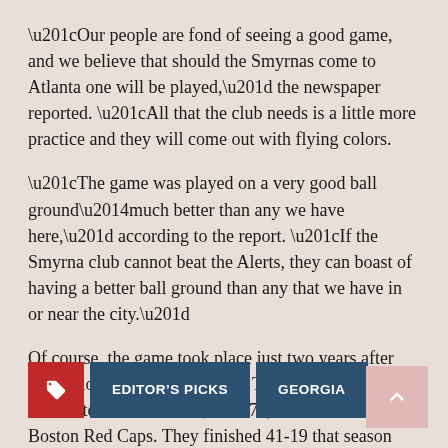“Our people are fond of seeing a good game, and we believe that should the Smyrnas come to Atlanta one will be played,” the newspaper reported. “All that the club needs is a little more practice and they will come out with flying colors.
“The game was played on a very good ball ground—much better than any we have here,” according to the report. “If the Smyrna club cannot beat the Alerts, they can boast of having a better ball ground than any that we have in or near the city.”
Of course, the game took place just two years after the National League launched. There was no Atlanta Braves team at that time; in 1878, the team was the Boston Red Caps. They finished 41-19 that season and pitcher Tommy Bond won 40 of the team’s games.
EDITOR'S PICKS
GEORGIA